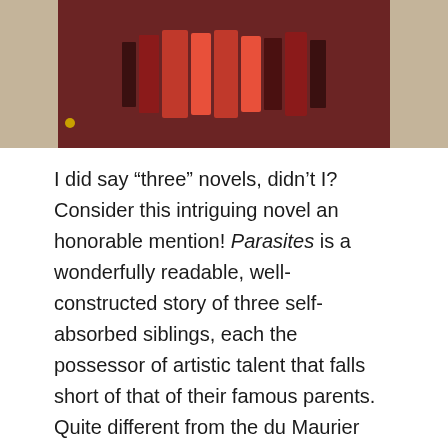[Figure (photo): Photograph showing books on a dark red/maroon shelf against a beige/tan background, with a small gold ornament visible.]
I did say “three” novels, didn’t I? Consider this intriguing novel an honorable mention! Parasites is a wonderfully readable, well-constructed story of three self-absorbed siblings, each the possessor of artistic talent that falls short of that of their famous parents. Quite different from the du Maurier novels I have previously read (Rebecca; My Cousin Rachel), Parasites is loaded with the atmosphere of the London theatrical world in the 1940s. And, oh yes, the novel is said to contain strong autobiographical elements . . . .
Well, dear readers, that’s pretty much it for my 2020 reading year. How did yours go? Anyone else out there, haunted by comfort reads and cursed with fragmented